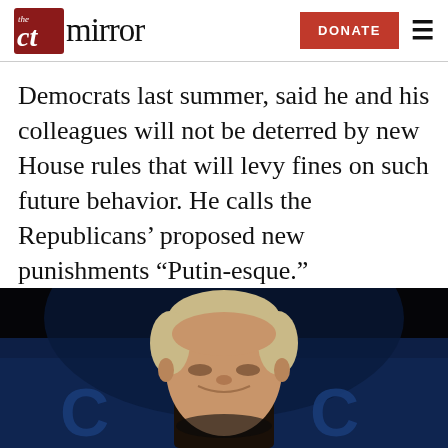The CT Mirror — DONATE
Democrats last summer, said he and his colleagues will not be deterred by new House rules that will levy fines on such future behavior. He calls the Republicans' proposed new punishments “Putin-esque.”
[Figure (photo): Photo of a man (Donald Trump) smiling against a dark background with blue stage lighting and partial letters 'C' visible in the lower portion.]